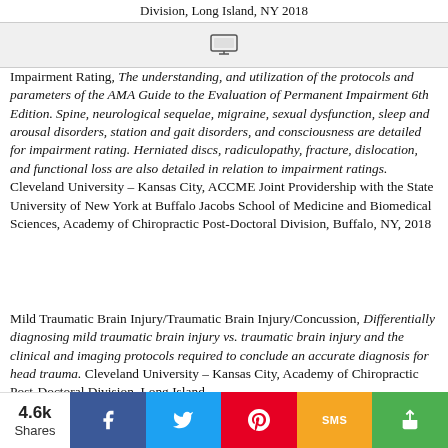Division, Long Island, NY 2018
Impairment Rating, The understanding, and utilization of the protocols and parameters of the AMA Guide to the Evaluation of Permanent Impairment 6th Edition. Spine, neurological sequelae, migraine, sexual dysfunction, sleep and arousal disorders, station and gait disorders, and consciousness are detailed for impairment rating. Herniated discs, radiculopathy, fracture, dislocation, and functional loss are also detailed in relation to impairment ratings. Cleveland University – Kansas City, ACCME Joint Providership with the State University of New York at Buffalo Jacobs School of Medicine and Biomedical Sciences, Academy of Chiropractic Post-Doctoral Division, Buffalo, NY, 2018
Mild Traumatic Brain Injury/Traumatic Brain Injury/Concussion, Differentially diagnosing mild traumatic brain injury vs. traumatic brain injury and the clinical and imaging protocols required to conclude an accurate diagnosis for head trauma. Cleveland University – Kansas City, Academy of Chiropractic Post-Doctoral Division, Long Island,